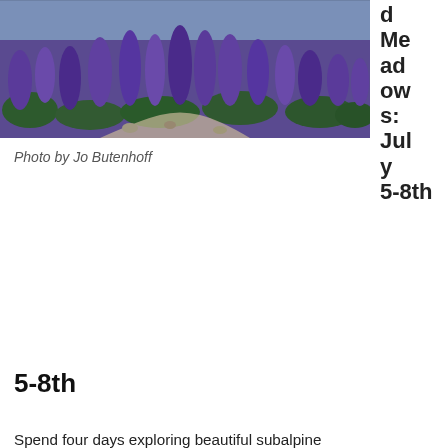[Figure (photo): Photograph of purple/blue wildflowers (lupine) covering a subalpine meadow, with rocky path and trees visible in background. Photo fills upper-left portion of page.]
Photo by Jo Butenhoff
d Meadows: July 5-8th
Spend four days exploring beautiful subalpine meadows and glacier-carved valleys in the National Recreation Area on Mount Baker, also known by its Indigenous name, Kulshan. We'll hike to Park Butte Fire Lookout and the base of Easton Glacier, pausing along the way to admire fields of flowers, look for pikas and marmots among the boulders, and (weather permitting) take in amazing views. Our facilitated discussions will focus on climate change impacts and how to harness your power as an agent of positive change. This trip is a great choice for those seeking a shorter backpacking